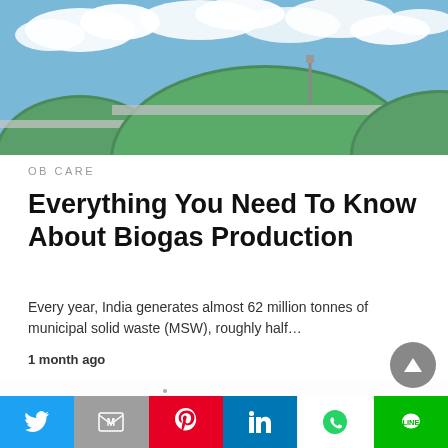[Figure (photo): Green biogas dome tanks against a blue sky with white clouds]
OB CARE
Everything You Need To Know About Biogas Production
Every year, India generates almost 62 million tonnes of municipal solid waste (MSW), roughly half…
1 month ago
[Figure (photo): Partial view of biogas storage dome with text overlay reading 'economy and public health.']
Twitter | Gmail | Pinterest | LinkedIn | WhatsApp | LINE share buttons